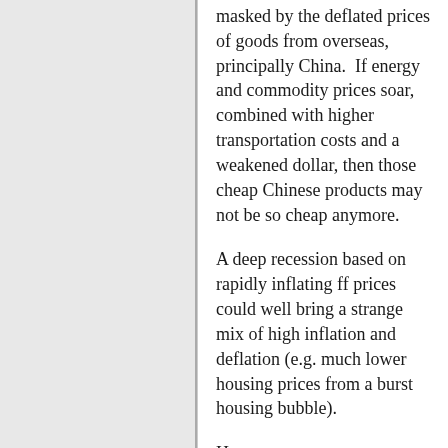masked by the deflated prices of goods from overseas, principally China.  If energy and commodity prices soar, combined with higher  transportation costs and a weakened dollar, then those cheap Chinese products may not be so cheap anymore.

A deep recession based on rapidly inflating ff prices could well bring a strange mix of high inflation and deflation (e.g. much lower housing prices from a burst housing bubble).

Hang on to your seat